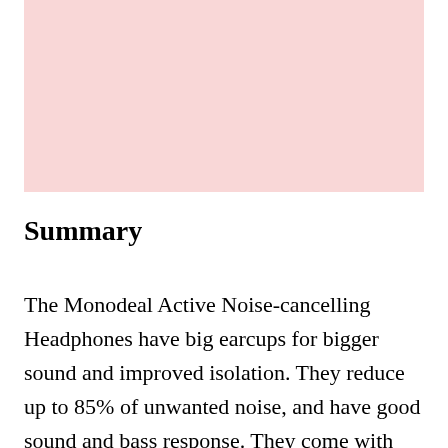[Figure (illustration): Pink/light rose colored rectangular placeholder image area at the top of the page]
Summary
The Monodeal Active Noise-cancelling Headphones have big earcups for bigger sound and improved isolation. They reduce up to 85% of unwanted noise, and have good sound and bass response. They come with everything you need to travel, including an